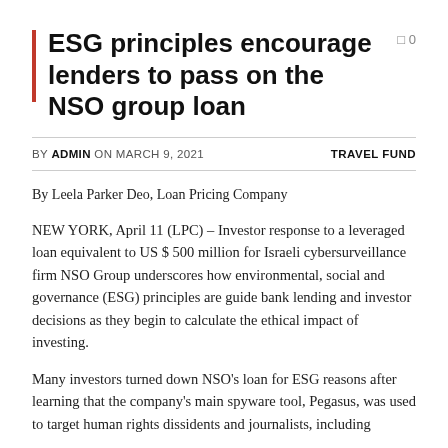ESG principles encourage lenders to pass on the NSO group loan
BY ADMIN ON MARCH 9, 2021   TRAVEL FUND
By Leela Parker Deo, Loan Pricing Company
NEW YORK, April 11 (LPC) – Investor response to a leveraged loan equivalent to US $ 500 million for Israeli cybersurveillance firm NSO Group underscores how environmental, social and governance (ESG) principles are guide bank lending and investor decisions as they begin to calculate the ethical impact of investing.
Many investors turned down NSO's loan for ESG reasons after learning that the company's main spyware tool, Pegasus, was used to target human rights dissidents and journalists, including